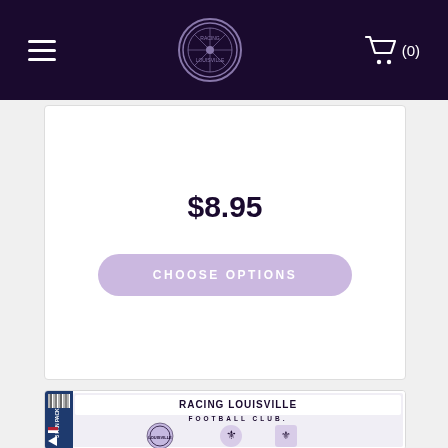Racing Louisville FC online store navigation bar
$8.95
CHOOSE OPTIONS
[Figure (photo): Racing Louisville Football Club sticker/decal fan pack showing the team logo and fleur-de-lis design stickers with packaging label reading '3 Fan Pack House Decal']